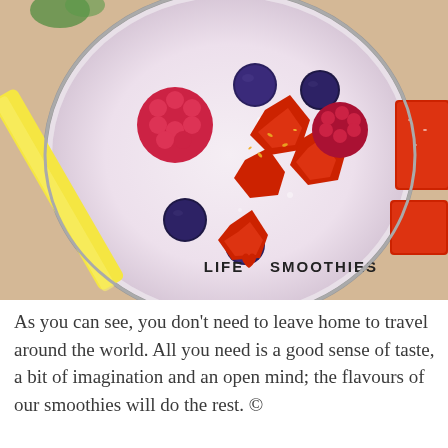[Figure (photo): Top-down view of a fruit smoothie in a glass with berries (raspberries, blueberries, strawberries) on top and a yellow straw, with the 'LIFE ❤ SMOOTHIES' logo watermark at the bottom center of the photo.]
As you can see, you don't need to leave home to travel around the world. All you need is a good sense of taste, a bit of imagination and an open mind; the flavours of our smoothies will do the rest. ©